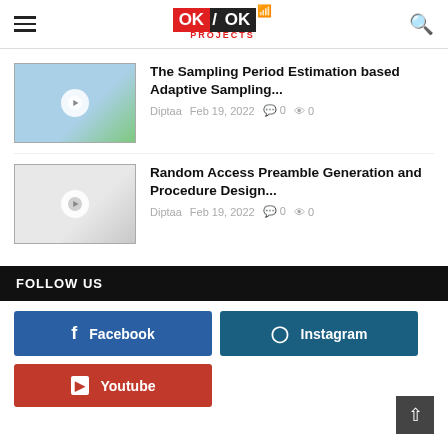OK/OK PROJECTS
The Sampling Period Estimation based Adaptive Sampling...
Diptaa  Feb 19, 2022  0  0
Random Access Preamble Generation and Procedure Design...
Diptaa  Feb 19, 2022  0  0
FOLLOW US
Facebook
Instagram
Youtube